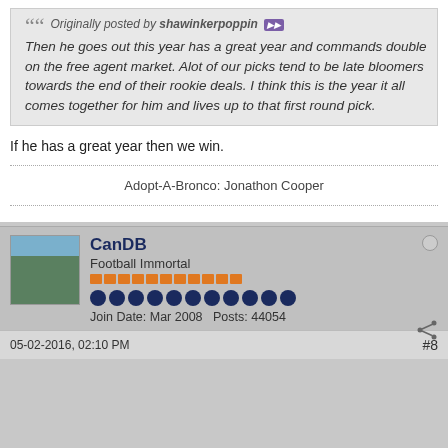Originally posted by shawinkerpoppin
Then he goes out this year has a great year and commands double on the free agent market. Alot of our picks tend to be late bloomers towards the end of their rookie deals. I think this is the year it all comes together for him and lives up to that first round pick.
If he has a great year then we win.
Adopt-A-Bronco: Jonathon Cooper
CanDB
Football Immortal
Join Date: Mar 2008   Posts: 44054
05-02-2016, 02:10 PM
#8